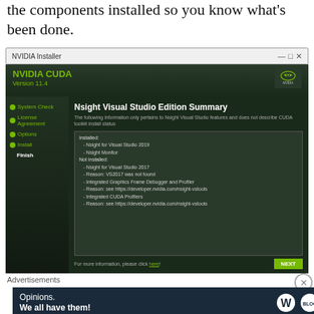the components installed so you know what's been done.
[Figure (screenshot): NVIDIA Installer window showing NVIDIA CUDA Version 11.4 installer with Nsight Visual Studio Edition Summary screen. Sidebar shows: System Check (checked), License Agreement (checked), Options (checked), Install (checked), Finish (active/bold). Main area shows title 'Nsight Visual Studio Edition Summary' with details about installed and not installed components.]
Advertisements
[Figure (screenshot): Advertisement banner with dark navy background showing 'Opinions. We all have them!' with WordPress and another logo on the right side.]